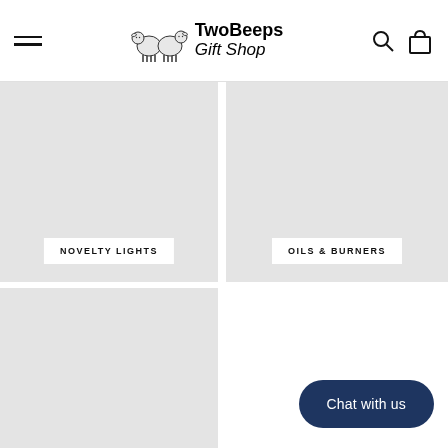TwoBeeps Gift Shop
[Figure (photo): Product category card with gray placeholder image labeled NOVELTY LIGHTS]
[Figure (photo): Product category card with gray placeholder image labeled OILS & BURNERS]
[Figure (photo): Product category card with gray placeholder image, no label visible]
Chat with us